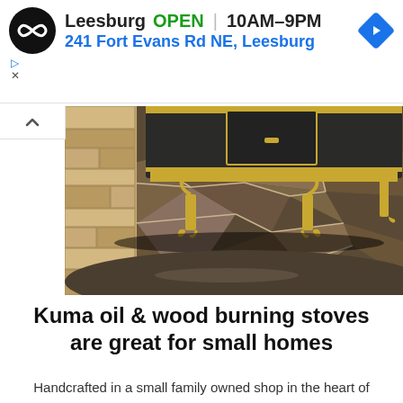Leesburg  OPEN  10AM–9PM  241 Fort Evans Rd NE, Leesburg
[Figure (photo): Close-up photo of a dark cast iron wood burning stove with gold/brass ornate legs sitting on a flagstone floor with stone wall in background]
Kuma oil & wood burning stoves are great for small homes
Handcrafted in a small family owned shop in the heart of